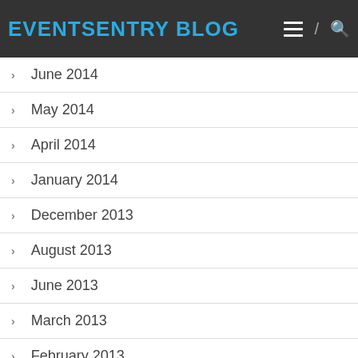EVENTSENTRY BLOG
June 2014
May 2014
April 2014
January 2014
December 2013
August 2013
June 2013
March 2013
February 2013
September 2012
July 2012